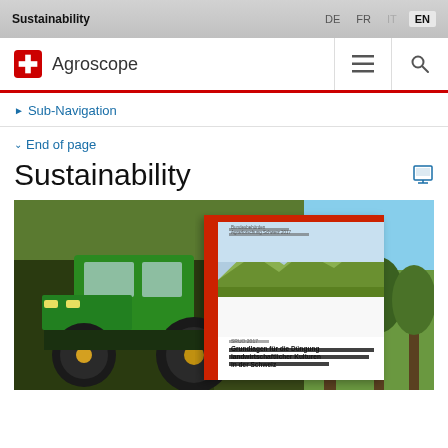Sustainability | DE  FR  IT  EN
[Figure (logo): Agroscope logo with Swiss cross emblem and navigation icons (hamburger menu and search)]
> Sub-Navigation
v End of page
Sustainability
[Figure (photo): A green John Deere tractor in the foreground on the left, with an overlaid publication booklet titled 'Grundlagen für die Düngung landwirtschaftlicher Kulturen in der Schweiz' showing a Swiss landscape on its cover, and trees visible on the right side background.]